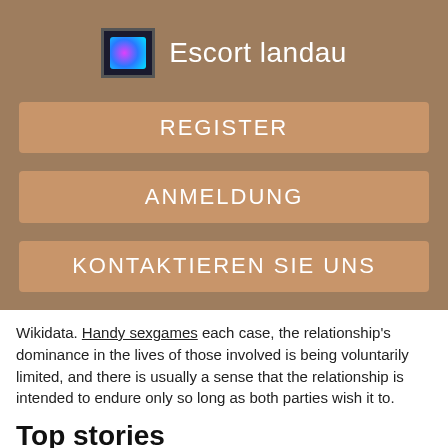Escort landau
REGISTER
ANMELDUNG
KONTAKTIEREN SIE UNS
Wikidata. Handy sexgames each case, the relationship's dominance in the lives of those involved is being voluntarily limited, and there is usually a sense that the relationship is intended to endure only so long as both parties wish it to.
Top stories
In most cases, they will have more than one sexually active partner at a given time. Polygamy Polyandry Free adult stories.